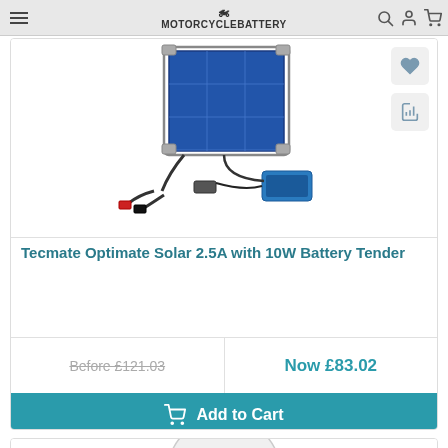MOTORCYCLEBATTERY
[Figure (photo): Tecmate Optimate Solar 2.5A with 10W Battery Tender product photo showing solar panel and charging accessories]
Tecmate Optimate Solar 2.5A with 10W Battery Tender
Before £121.03
Now £83.02
Add to Cart
[Figure (photo): Partial view of second product - battery tester/indicator with crocodile clips]